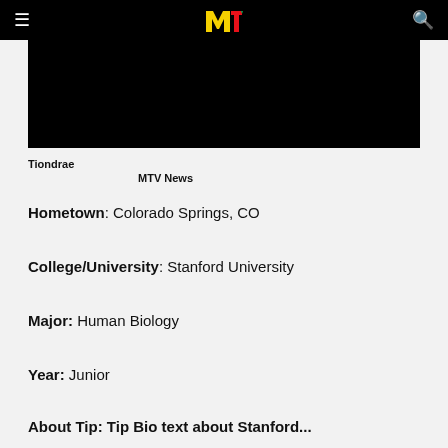MTV News
[Figure (photo): Black image area / photo placeholder at top of page]
Tiondrae
MTV News
Hometown: Colorado Springs, CO
College/University: Stanford University
Major: Human Biology
Year: Junior
About Tip: Tip Bio text about Stanford...